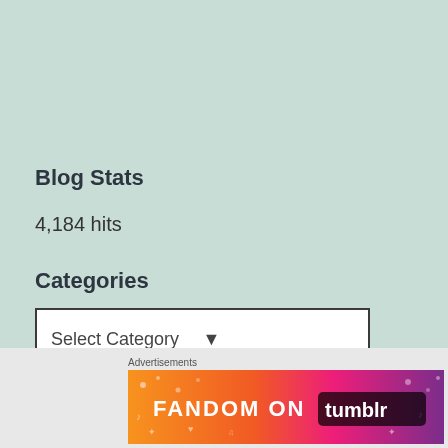Blog Stats
4,184 hits
Categories
Select Category
Advertisements
[Figure (illustration): Fandom on Tumblr advertisement banner with colorful gradient background from orange to purple with doodle icons and bold text reading FANDOM ON tumblr]